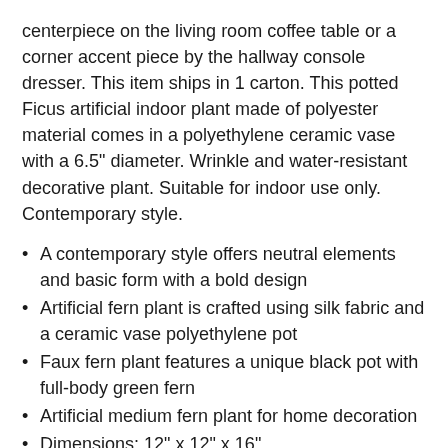centerpiece on the living room coffee table or a corner accent piece by the hallway console dresser. This item ships in 1 carton. This potted Ficus artificial indoor plant made of polyester material comes in a polyethylene ceramic vase with a 6.5" diameter. Wrinkle and water-resistant decorative plant. Suitable for indoor use only. Contemporary style.
A contemporary style offers neutral elements and basic form with a bold design
Artificial fern plant is crafted using silk fabric and a ceramic vase polyethylene pot
Faux fern plant features a unique black pot with full-body green fern
Artificial medium fern plant for home decoration
Dimensions: 12" x 12" x 16"
Dusting: Dust with a soft, dry cloth
No Assembly Required'